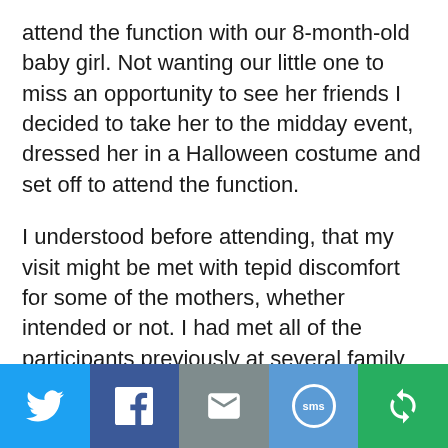attend the function with our 8-month-old baby girl. Not wanting our little one to miss an opportunity to see her friends I decided to take her to the midday event, dressed her in a Halloween costume and set off to attend the function.
I understood before attending, that my visit might be met with tepid discomfort for some of the mothers, whether intended or not. I had met all of the participants previously at several family gatherings, so I was familiar with the atmosphere I would be entering. However, being the lone father at an all mothers event, takes a certain amount of balls, pun very much
[Figure (other): Social sharing bar with five buttons: Twitter (blue bird icon), Facebook (dark blue f icon), Email (grey envelope icon), SMS (blue speech bubble with 'sms' text), Share (green circular arrows icon)]